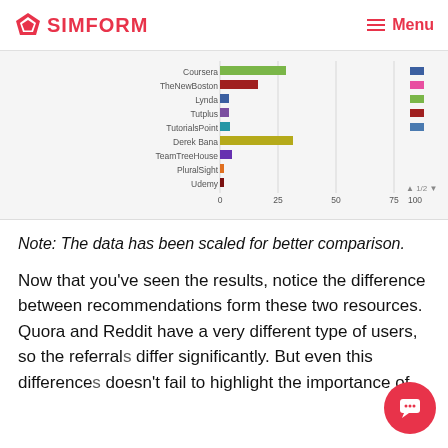SIMFORM   Menu
[Figure (bar-chart): Partial horizontal bar chart showing scaled recommendation counts for various online learning resources. X-axis goes from 0 to 100 with gridlines at 25, 50, 75, 100.]
Note: The data has been scaled for better comparison.
Now that you've seen the results, notice the difference between recommendations form these two resources. Quora and Reddit have a very different type of users, so the referrals differ significantly. But even this difference doesn't fail to highlight the importance of